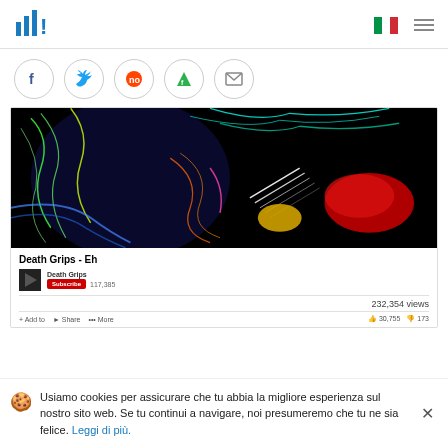lh! [logo] | Italian flag | hamburger menu
[Figure (screenshot): Social sharing buttons row: Facebook, Twitter, Reddit, Feedly, Email]
[Figure (screenshot): YouTube embedded player showing Death Grips - Eh video with neon art visuals, 232,354 views, Death Grips channel with Subscribe button]
Usiamo cookies per assicurare che tu abbia la migliore esperienza sul nostro sito web. Se tu continui a navigare, noi presumeremo che tu ne sia felice. Leggi di più.